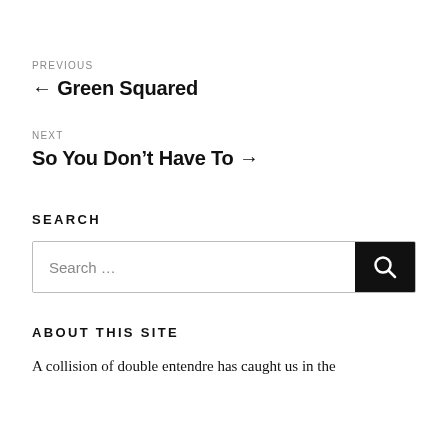PREVIOUS
← Green Squared
NEXT
So You Don't Have To →
SEARCH
[Figure (other): Search input box with text 'Search …' and a black search button with magnifying glass icon]
ABOUT THIS SITE
A collision of double entendre has caught us in the